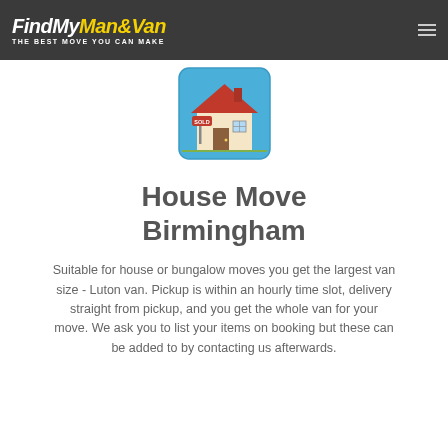FindMyMan&Van — THE BEST MOVE YOU CAN MAKE
[Figure (illustration): Illustration of a house with a 'SOLD' sign in front, set against a blue background inside a rounded rectangle frame.]
House Move Birmingham
Suitable for house or bungalow moves you get the largest van size - Luton van. Pickup is within an hourly time slot, delivery straight from pickup, and you get the whole van for your move. We ask you to list your items on booking but these can be added to by contacting us afterwards.